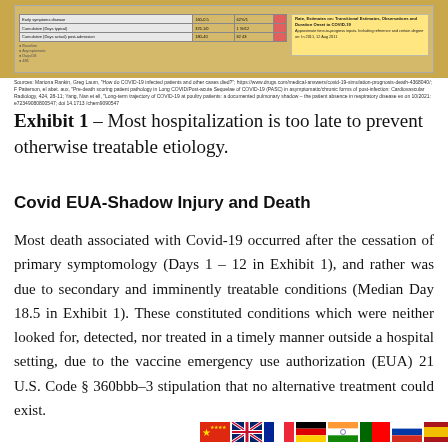[Figure (table-as-image): Partial view of a table showing COVID-19 hospitalization data with columns for statistics and a yellow highlighted text box with source/reference information]
Sources: Marcus Rankin, Greg Laum, 'How do COVID-19 infected patients and other cases died?'; https://www.drugs.com/medical-answers/covid-19-simulation-prognosis-death-4368040/; F Patterson, et al.ax, 'Pre-death scoring patient pathology in Long COVID/Post-acute Sequelae of COVID-19 (PASC) in asymptomatic/chronic forms of post-infection: Cardiovascular Radiology, 424: 28-11; Yang, Nan, et al., 'Long-term trajectory of COVID-19 at poultry patients: a documented pulmonary shadow - the patient absence in respiratory disease ex on 10/2021: e72349080800547; doi 14.1713 /chem9090547
Exhibit 1 – Most hospitalization is too late to prevent otherwise treatable etiology.
Covid EUA-Shadow Injury and Death
Most death associated with Covid-19 occurred after the cessation of primary symptomology (Days 1 – 12 in Exhibit 1), and rather was due to secondary and imminently treatable conditions (Median Day 18.5 in Exhibit 1). These constituted conditions which were neither looked for, detected, nor treated in a timely manner outside a hospital setting, due to the vaccine emergency use authorization (EUA) 21 U.S. Code § 360bbb–3 stipulation that no alternative treatment could exist.